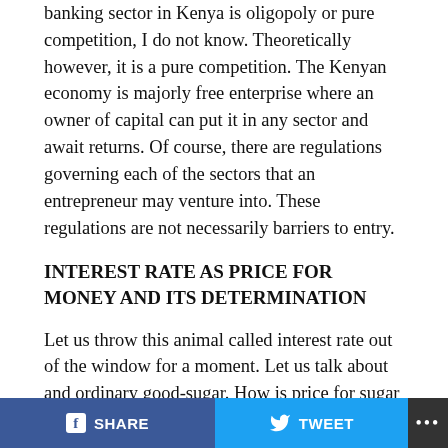banking sector in Kenya is oligopoly or pure competition, I do not know. Theoretically however, it is a pure competition. The Kenyan economy is majorly free enterprise where an owner of capital can put it in any sector and await returns. Of course, there are regulations governing each of the sectors that an entrepreneur may venture into. These regulations are not necessarily barriers to entry.
INTEREST RATE AS PRICE FOR MONEY AND ITS DETERMINATION
Let us throw this animal called interest rate out of the window for a moment. Let us talk about and ordinary good-sugar. How is price for sugar determined? In any business transaction, there are two parties involved. The buyer (demand) and the seller (supply). The buyers want to buy at the lowest possible prices while the sellers want
f SHARE   TWEET   ...